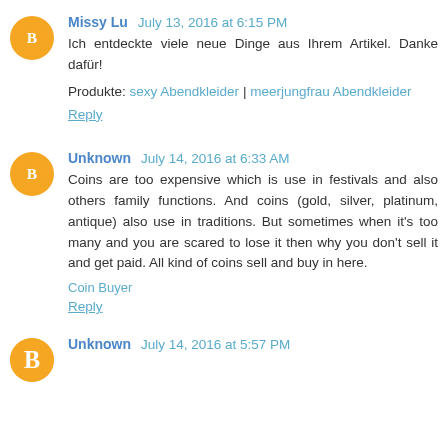Missy Lu July 13, 2016 at 6:15 PM
Ich entdeckte viele neue Dinge aus Ihrem Artikel. Danke dafür!
Produkte: sexy Abendkleider | meerjungfrau Abendkleider
Reply
Unknown July 14, 2016 at 6:33 AM
Coins are too expensive which is use in festivals and also others family functions. And coins (gold, silver, platinum, antique) also use in traditions. But sometimes when it's too many and you are scared to lose it then why you don't sell it and get paid. All kind of coins sell and buy in here.
Coin Buyer
Reply
Unknown July 14, 2016 at 5:57 PM